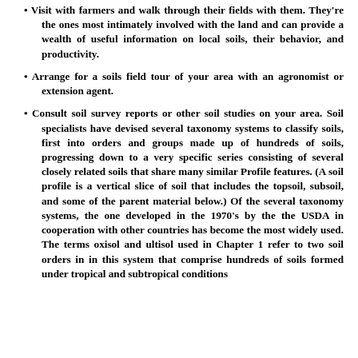• Visit with farmers and walk through their fields with them. They're the ones most intimately involved with the land and can provide a wealth of useful information on local soils, their behavior, and productivity.
• Arrange for a soils field tour of your area with an agronomist or extension agent.
• Consult soil survey reports or other soil studies on your area. Soil specialists have devised several taxonomy systems to classify soils, first into orders and groups made up of hundreds of soils, progressing down to a very specific series consisting of several closely related soils that share many similar Profile features. (A soil profile is a vertical slice of soil that includes the topsoil, subsoil, and some of the parent material below.) Of the several taxonomy systems, the one developed in the 1970's by the the USDA in cooperation with other countries has become the most widely used. The terms oxisol and ultisol used in Chapter 1 refer to two soil orders in in this system that comprise hundreds of soils formed under tropical and subtropical conditions